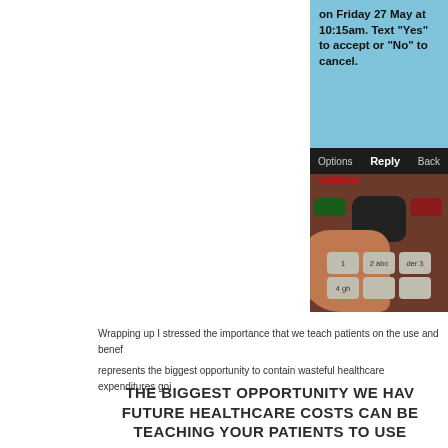[Figure (photo): A hand holding a Vodafone mobile phone displaying an SMS appointment reminder message reading: 'on Friday 27 May at 10:15am. Text "Yes" to accept or "No" to cancel.' with Options, Reply, and Back buttons visible, and numeric keypad partially shown.]
Wrapping up I stressed the importance that we teach patients on the use and benefits... represents the biggest opportunity to contain wasteful healthcare expenditures going...
THE BIGGEST OPPORTUNITY WE HAV... FUTURE HEALTHCARE COSTS CAN BE... TEACHING YOUR PATIENTS TO USE...